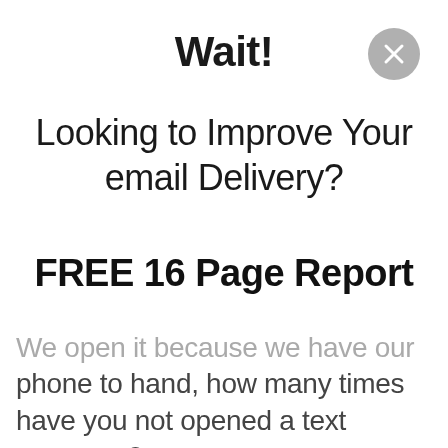Wait!
Looking to Improve Your email Delivery?
FREE 16 Page Report
We open it because we have our phone to hand, how many times have you not opened a text message?